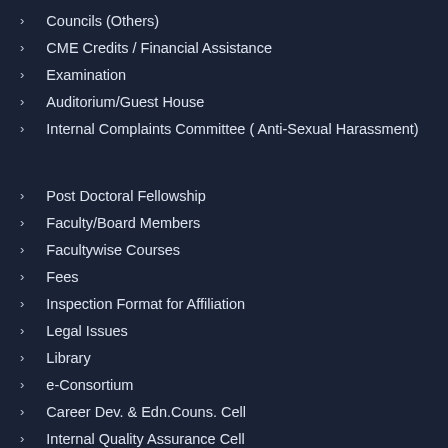Councils (Others)
CME Credits / Financial Assistance
Examination
Auditorium/Guest House
Internal Complaints Committee ( Anti-Sexual Harassment)
Post Doctoral Fellowship
Faculty/Board Members
Facultywise Courses
Fees
Inspection Format for Affiliation
Legal Issues
Library
e-Consortium
Career Dev. & Edn.Couns. Cell
Internal Quality Assurance Cell
Eligibility/Migration Certificate Verification